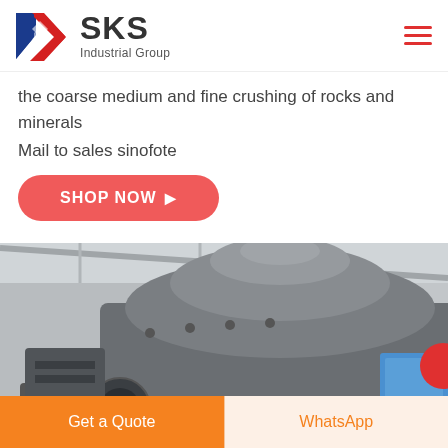[Figure (logo): SKS Industrial Group logo with stylized K in red and blue, company name SKS Industrial Group]
the coarse medium and fine crushing of rocks and minerals
Mail to sales sinofote
[Figure (illustration): Red rounded rectangle button with white bold text SHOP NOW and arrow symbol]
[Figure (photo): Industrial cone crusher machine photographed inside a factory/warehouse setting with steel roof structure visible]
Get a Quote
WhatsApp